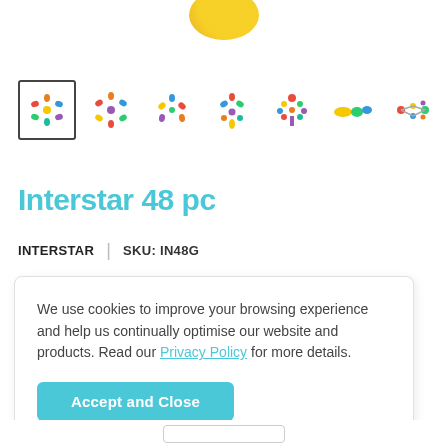[Figure (photo): Partially visible product hero image at top - appears to be a yellow/gold rounded toy piece]
[Figure (photo): Row of 7 product thumbnail images showing colorful Interstar building toy constructions: star shape, flower shape, Y-shape, tree shape, flat pieces, and geometric connected pieces. First thumbnail is selected with a border.]
Interstar 48 pc
INTERSTAR | SKU: IN48G
We use cookies to improve your browsing experience and help us continually optimise our website and products. Read our Privacy Policy for more details.
Accept and Close